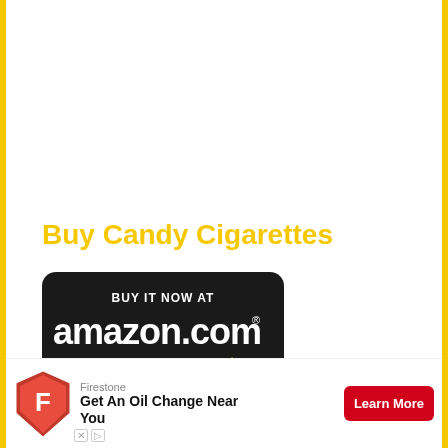Buy Candy Cigarettes
[Figure (logo): Black rounded rectangle button with 'BUY IT NOW AT amazon.com' text and Amazon arrow logo in white and orange]
What Are Candy Cigarettes
[Figure (infographic): Firestone advertisement banner: red shield logo, 'Get An Oil Change Near You' text, red 'Learn More' button]